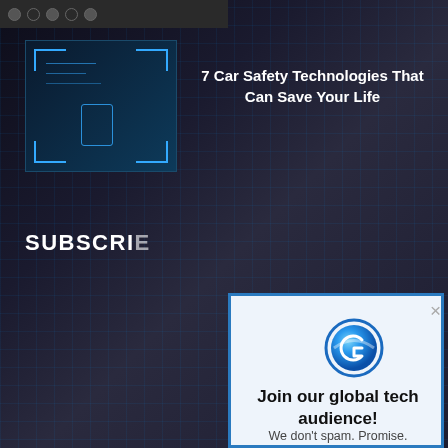[Figure (screenshot): Dark tech website background with grid lines pattern]
7 Car Safety Technologies That Can Save Your Life
SUBSCRIBE
We apologize
We use cookies relevant experience repeat visits of all the co
Do not sell
[Figure (logo): Blue circular logo with letter G or C shape]
Join our global tech audience!
We don't spam. Promise.
Your email address
Subscribe!